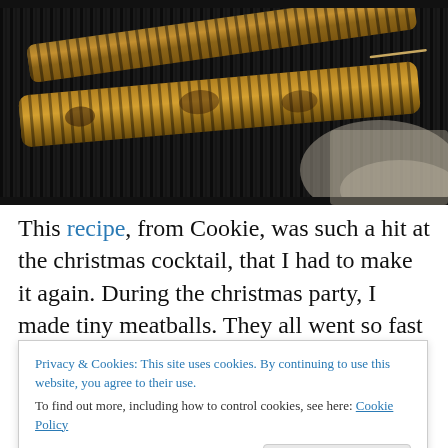[Figure (photo): Close-up photo of meat skewers/kebabs cooking on a ribbed grill pan, showing grill marks on the meat, on a granite countertop background]
This recipe, from Cookie, was such a hit at the christmas cocktail, that I had to make it again.  During the christmas party, I made tiny meatballs.  They all went so fast that I
Privacy & Cookies: This site uses cookies. By continuing to use this website, you agree to their use.
To find out more, including how to control cookies, see here: Cookie Policy
texture was spot-on both times.  I was particular about